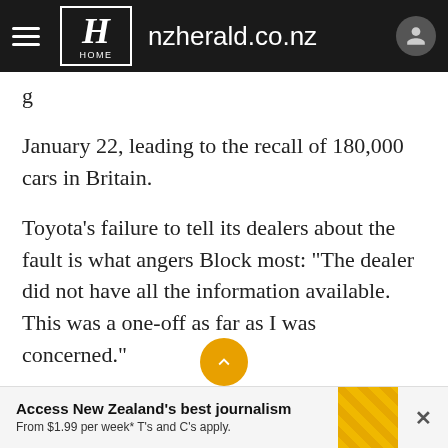nzherald.co.nz
January 22, leading to the recall of 180,000 cars in Britain.
Toyota's failure to tell its dealers about the fault is what angers Block most: "The dealer did not have all the information available. This was a one-off as far as I was concerned."
Since the fault is partly caused by wear and tear, as well as cold weather, she cannot be certain the accelerator will not stick again.
Access New Zealand's best journalism From $1.99 per week* T's and C's apply.